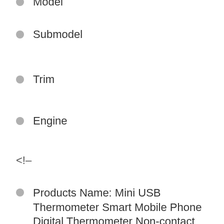Model
Submodel
Trim
Engine
<!–
Products Name: Mini USB Thermometer Smart Mobile Phone Digital Thermometer Non-contact Infrared Temperature Sensor For Portable Travel Outdoor